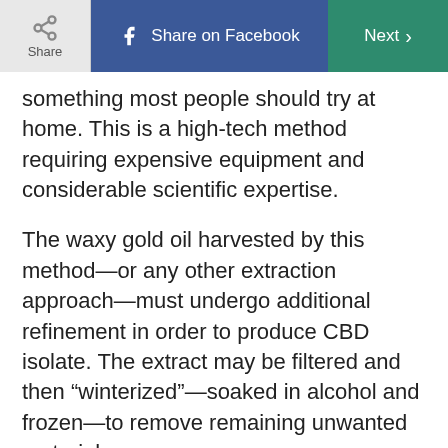Share | Share on Facebook | Next
something most people should try at home. This is a high-tech method requiring expensive equipment and considerable scientific expertise.
The waxy gold oil harvested by this method—or any other extraction approach—must undergo additional refinement in order to produce CBD isolate. The extract may be filtered and then “winterized”—soaked in alcohol and frozen—to remove remaining unwanted material.
How to use CBD isolate